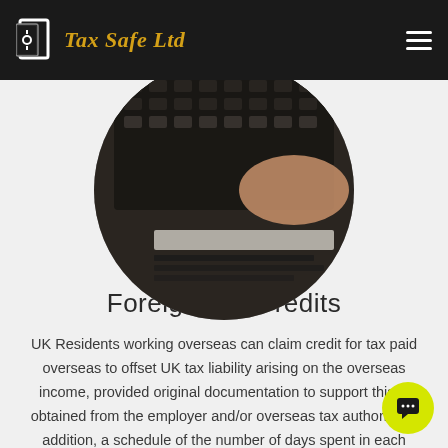Tax Safe Ltd
[Figure (photo): Circular cropped photo of a person's hand near a calculator and papers on a desk, in a dark-toned background.]
Foreign Tax Credits
UK Residents working overseas can claim credit for tax paid overseas to offset UK tax liability arising on the overseas income, provided original documentation to support this is obtained from the employer and/or overseas tax authority. In addition, a schedule of the number of days spent in each country for which FTCR is being claimed, in each calendar year, will be required.